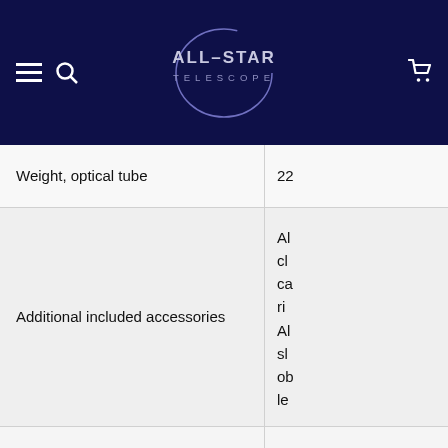[Figure (logo): All-Star Telescope logo: circular arc with text ALL-STAR TELESCOPE inside, on dark navy background with hamburger menu, search icon left, and cart icon right]
| Specification | Value |
| --- | --- |
| Weight, optical tube | 22... |
| Additional included accessories | Al... cl... ca... ri... Al... sl... ob... le... |
|  | Re... de... |